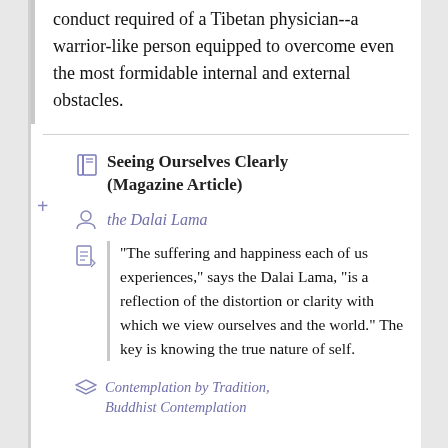conduct required of a Tibetan physician--a warrior-like person equipped to overcome even the most formidable internal and external obstacles.
Seeing Ourselves Clearly (Magazine Article)
the Dalai Lama
"The suffering and happiness each of us experiences," says the Dalai Lama, "is a reflection of the distortion or clarity with which we view ourselves and the world." The key is knowing the true nature of self.
Contemplation by Tradition, Buddhist Contemplation